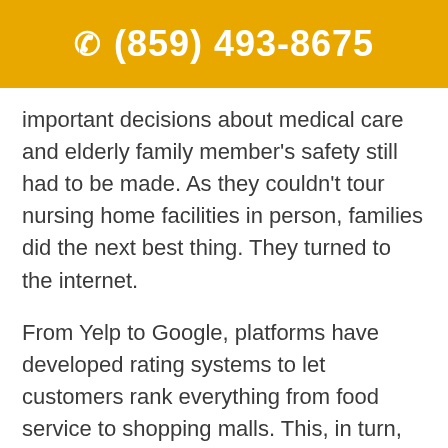☎ (859) 493-8675
important decisions about medical care and elderly family member's safety still had to be made. As they couldn't tour nursing home facilities in person, families did the next best thing. They turned to the internet.
From Yelp to Google, platforms have developed rating systems to let customers rank everything from food service to shopping malls. This, in turn, lets others know what to expect: good food, bad service, fun atmosphere, the works.